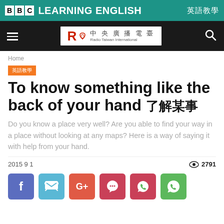BBC LEARNING ENGLISH 英語教學
[Figure (logo): Radio Taiwan International (RTI) logo with navigation bar]
Home
英語教學
To know something like the back of your hand 了解某事
Do you know a place very well? Are you able to find your way in a place without looking at any maps? Here is a way of saying it with help from your hand.
2015 9 1
2791
[Figure (infographic): Social sharing buttons: Facebook, Twitter, Google+, Pinterest, WhatsApp]